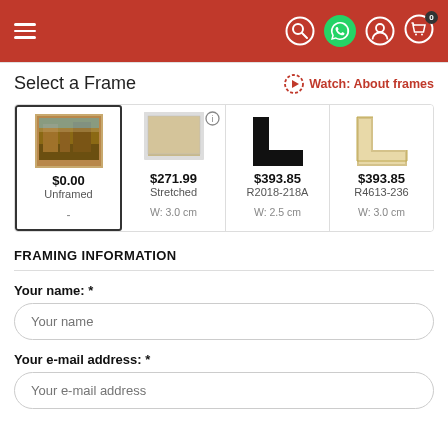Navigation header with hamburger menu, search, WhatsApp, user, and cart icons
Select a Frame
Watch: About frames
[Figure (illustration): Four frame options: Unframed ($0.00), Stretched ($271.99), R2018-218A ($393.85, W: 2.5 cm), R4613-236 ($393.85, W: 3.0 cm)]
FRAMING INFORMATION
Your name: *
Your e-mail address: *